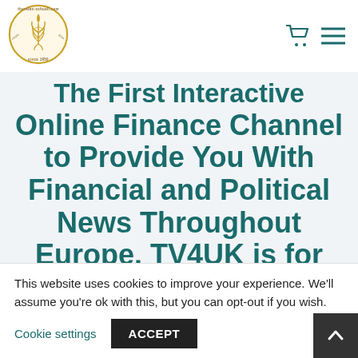[Figure (logo): Circular gold logo with plant/wheat design, text reading 'thorsten-schuell.com', 'castle drive', 'since 1950']
The First Interactive Online Finance Channel to Provide You With Financial and Political News Throughout Europe. TV4UK is for
This website uses cookies to improve your experience. We'll assume you're ok with this, but you can opt-out if you wish.
Cookie settings   ACCEPT